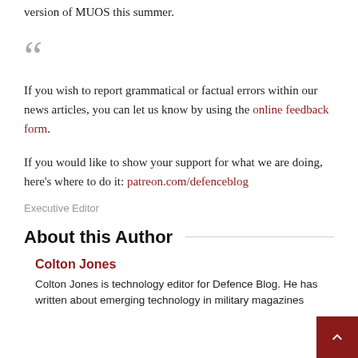version of MUOS this summer.
If you wish to report grammatical or factual errors within our news articles, you can let us know by using the online feedback form.
If you would like to show your support for what we are doing, here's where to do it: patreon.com/defenceblog
Executive Editor
About this Author
Colton Jones
Colton Jones is technology editor for Defence Blog. He has written about emerging technology in military magazines